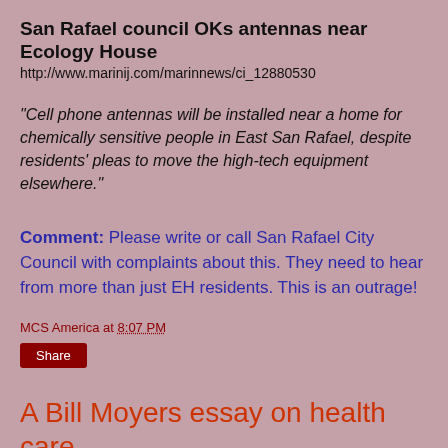San Rafael council OKs antennas near Ecology House
http://www.marinij.com/marinnews/ci_12880530
"Cell phone antennas will be installed near a home for chemically sensitive people in East San Rafael, despite residents' pleas to move the high-tech equipment elsewhere."
Comment:  Please write or call San Rafael City Council with complaints about this.  They need to hear from more than just EH residents.  This is an outrage!
MCS America at 8:07 PM
Share
A Bill Moyers essay on health care.
A Bill Moyers essay on health care.
http://thetruthaboutmcs.blogspot.com/2009/07/bill-moyers-essay-on-health-care.html